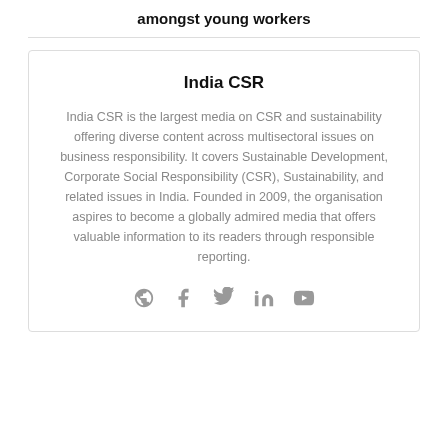amongst young workers
India CSR
India CSR is the largest media on CSR and sustainability offering diverse content across multisectoral issues on business responsibility. It covers Sustainable Development, Corporate Social Responsibility (CSR), Sustainability, and related issues in India. Founded in 2009, the organisation aspires to become a globally admired media that offers valuable information to its readers through responsible reporting.
[Figure (infographic): Social media icons: globe, Facebook, Twitter, LinkedIn, YouTube]